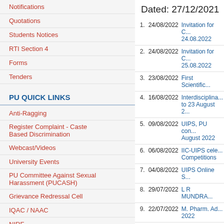Notifications
Quotations
Students Notices
RTI Section 4
Forms
Tenders
PU QUICK LINKS
Anti-Ragging
Register Complaint - Caste Based Discrimination
Webcast/Videos
University Events
PU Committee Against Sexual Harassment (PUCASH)
Grievance Redressal Cell
IQAC / NAAC
NIRF
PU Ethics Committee
Swachh Bharat Abhiyan
Cluster: CRIKC
Dated: 27/12/2021
| # | Date | Notice |
| --- | --- | --- |
| 1. | 24/08/2022 | Invitation for C... 24.08.2022 |
| 2. | 24/08/2022 | Invitation for C... 25.08.2022 |
| 3. | 23/08/2022 | First Scientific... |
| 4. | 16/08/2022 | Interdisciplina... to 23 August 2... |
| 5. | 09/08/2022 | UIPS, PU con... August 2022 |
| 6. | 06/08/2022 | IIC-UIPS cele... Competitions |
| 7. | 04/08/2022 | UIPS Online S... |
| 8. | 29/07/2022 | L R MUNDRA... |
| 9. | 22/07/2022 | M. Pharm. Ad... 2022 |
| 10. | 25/06/2022 | M. Pharm. Ad... |
| 11. | 23/06/2022 | B. Pharm. Adr... |
| 12. | 07/06/2022 | UIPS One Pa... |